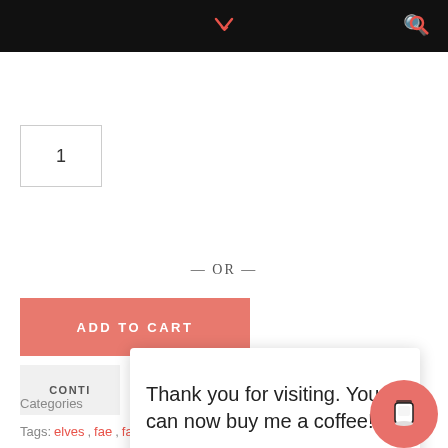navigation header with chevron and search icon
1
— OR —
ADD TO CART
CONTI
Thank you for visiting. You can now buy me a coffee!
Categories
Tags: elves, fae, fairies, monster hunter, seelie, unseelie, vampires